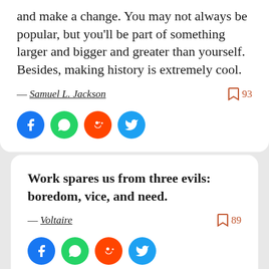and make a change. You may not always be popular, but you'll be part of something larger and bigger and greater than yourself. Besides, making history is extremely cool.
— Samuel L. Jackson   93
[Figure (infographic): Social share icons: Facebook (blue), WhatsApp (green), Reddit (orange), Twitter (blue)]
Work spares us from three evils: boredom, vice, and need.
— Voltaire   89
[Figure (infographic): Social share icons: Facebook (blue), WhatsApp (green), Reddit (orange), Twitter (blue)]